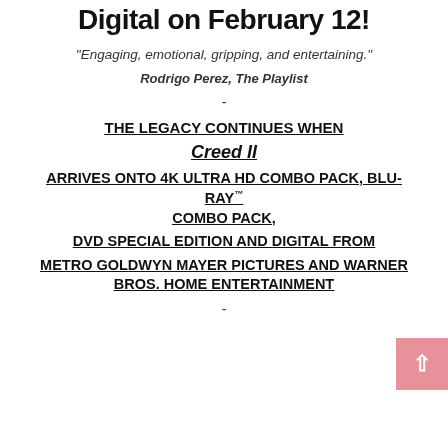Digital on February 12!
"Engaging, emotional, gripping, and entertaining."
Rodrigo Perez, The Playlist
-
THE LEGACY CONTINUES WHEN
Creed II
ARRIVES ONTO 4K ULTRA HD COMBO PACK, BLU-RAY™ COMBO PACK,
DVD SPECIAL EDITION AND DIGITAL FROM
METRO GOLDWYN MAYER PICTURES AND WARNER BROS. HOME ENTERTAINMENT
-